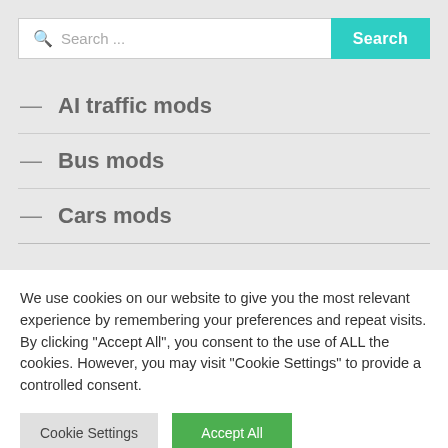Search ...
— AI traffic mods
— Bus mods
— Cars mods
We use cookies on our website to give you the most relevant experience by remembering your preferences and repeat visits. By clicking "Accept All", you consent to the use of ALL the cookies. However, you may visit "Cookie Settings" to provide a controlled consent.
Cookie Settings
Accept All